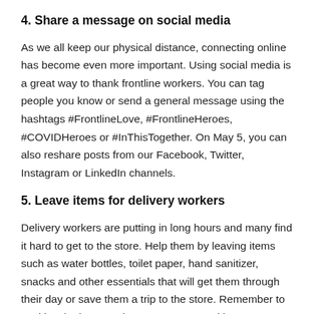4. Share a message on social media
As we all keep our physical distance, connecting online has become even more important. Using social media is a great way to thank frontline workers. You can tag people you know or send a general message using the hashtags #FrontlineLove, #FrontlineHeroes, #COVIDHeroes or #InThisTogether. On May 5, you can also reshare posts from our Facebook, Twitter, Instagram or LinkedIn channels.
5. Leave items for delivery workers
Delivery workers are putting in long hours and many find it hard to get to the store. Help them by leaving items such as water bottles, toilet paper, hand sanitizer, snacks and other essentials that will get them through their day or save them a trip to the store. Remember to sanitize the items as best as you can and leave instructions so the delivery people do the same.